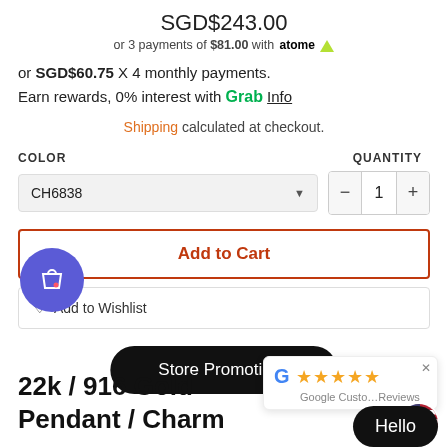SGD$243.00
or 3 payments of $81.00 with atome
or SGD$60.75 X 4 monthly payments.
Earn rewards, 0% interest with Grab Info
Shipping calculated at checkout.
COLOR
QUANTITY
CH6838
1
Add to Cart
Add to Wishlist
Store Promotions
22k / 916 Gold Pendant / Charm
[Figure (screenshot): Google Customer Reviews widget with 4 stars]
Hello